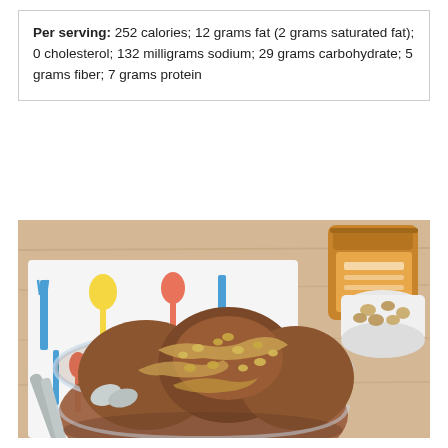Per serving: 252 calories; 12 grams fat (2 grams saturated fat); 0 cholesterol; 132 milligrams sodium; 29 grams carbohydrate; 5 grams fiber; 7 grams protein
[Figure (photo): A glass bowl filled with chocolate banana ice cream topped with peanut butter drizzle and chopped peanuts, served on a colorful utensil-print napkin. A jar of nut butter and a small white ramekin of chopped peanuts are visible in the background on a wooden surface.]